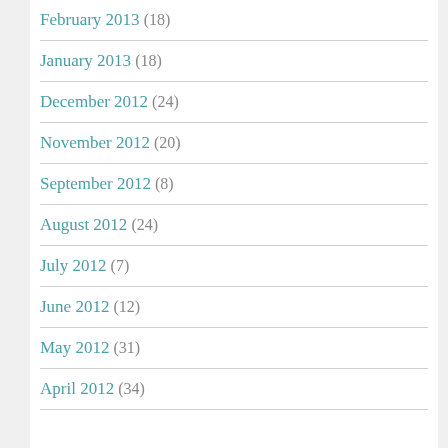February 2013 (18)
January 2013 (18)
December 2012 (24)
November 2012 (20)
September 2012 (8)
August 2012 (24)
July 2012 (7)
June 2012 (12)
May 2012 (31)
April 2012 (34)